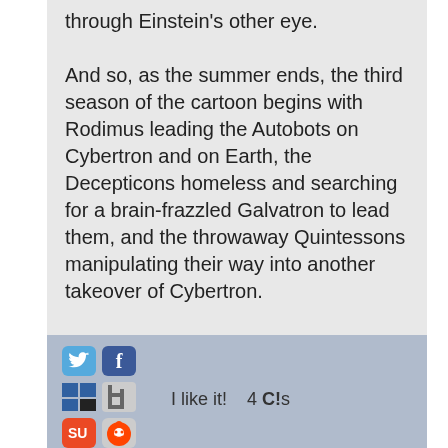through Einstein's other eye. And so, as the summer ends, the third season of the cartoon begins with Rodimus leading the Autobots on Cybertron and on Earth, the Decepticons homeless and searching for a brain-frazzled Galvatron to lead them, and the throwaway Quintessons manipulating their way into another takeover of Cybertron.
[Figure (infographic): Social sharing bar with Twitter, Facebook, Delicious, Digg, StumbleUpon, Reddit icons, 'I like it!' button, and '4 C!s' comment count]